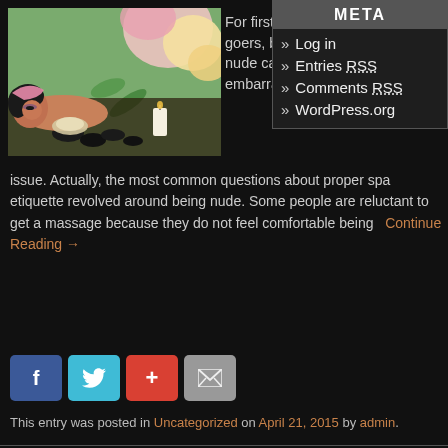[Figure (photo): Woman lying on massage table with spa stones and candle, floral background]
For first time spa goers, being nude can be an embarrassing issue. Actually, the most common questions about proper spa etiquette revolved around being nude. Some people are reluctant to get a massage because they do not feel comfortable being  Continue Reading →
META
» Log in
» Entries RSS
» Comments RSS
» WordPress.org
[Figure (infographic): Social share buttons: Facebook, Twitter, Google+, Email]
This entry was posted in Uncategorized on April 21, 2015 by admin.